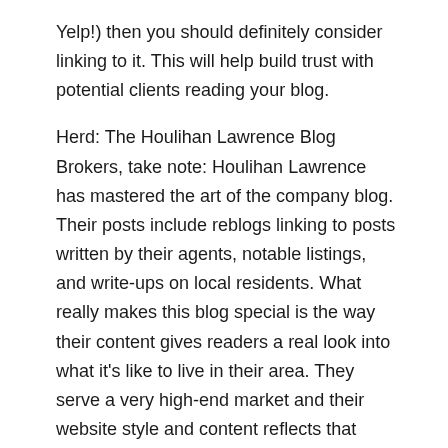Yelp!) then you should definitely consider linking to it. This will help build trust with potential clients reading your blog.
Herd: The Houlihan Lawrence Blog
Brokers, take note: Houlihan Lawrence has mastered the art of the company blog. Their posts include reblogs linking to posts written by their agents, notable listings, and write-ups on local residents. What really makes this blog special is the way their content gives readers a real look into what it's like to live in their area. They serve a very high-end market and their website style and content reflects that luxury. Read through a few posts and you'll know exactly what it would be like to live in one of their properties north of New York City.
Idea to implement: A company-wide blog is a great way to drive traffic to your agents' sites and get them leads. By promoting their posts on your page, you're also rewarding